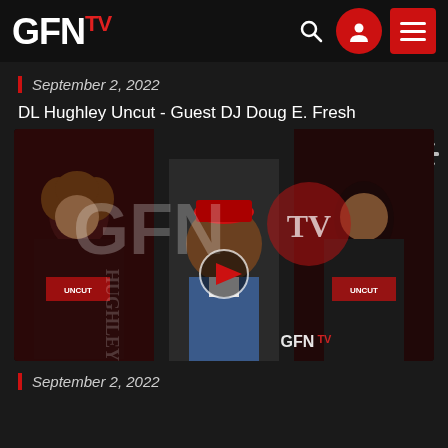GFN TV
September 2, 2022
DL Hughley Uncut - Guest DJ Doug E. Fresh
[Figure (screenshot): Video thumbnail for DL Hughley Uncut featuring DJ Doug E. Fresh. Shows three people in a TV show setting with a GFN TV watermark logo overlay and a play button in the center.]
September 2, 2022